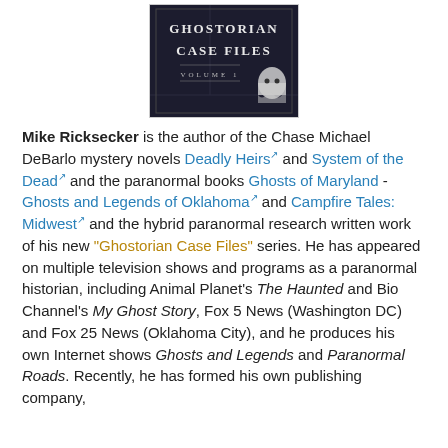[Figure (photo): Book cover image for 'Ghostorian Case Files Volume 1' with dark background and ghost figure]
Mike Ricksecker is the author of the Chase Michael DeBarlo mystery novels Deadly Heirs and System of the Dead and the paranormal books Ghosts of Maryland - Ghosts and Legends of Oklahoma and Campfire Tales: Midwest and the hybrid paranormal research written work of his new "Ghostorian Case Files" series. He has appeared on multiple television shows and programs as a paranormal historian, including Animal Planet's The Haunted and Bio Channel's My Ghost Story, Fox 5 News (Washington DC) and Fox 25 News (Oklahoma City), and he produces his own Internet shows Ghosts and Legends and Paranormal Roads. Recently, he has formed his own publishing company,